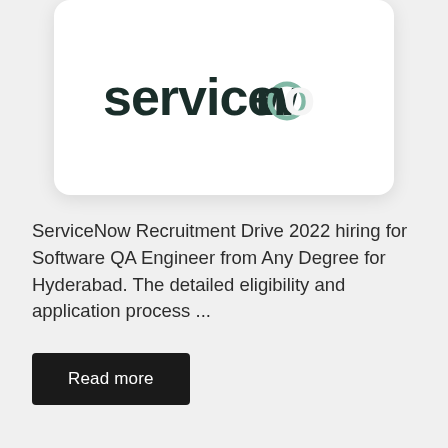[Figure (logo): ServiceNow logo displayed in a white rounded card. The word 'servicenow' in dark text with a teal/green circular accent on the letter 'o'.]
ServiceNow Recruitment Drive 2022 hiring for Software QA Engineer from Any Degree for Hyderabad. The detailed eligibility and application process ...
Read more